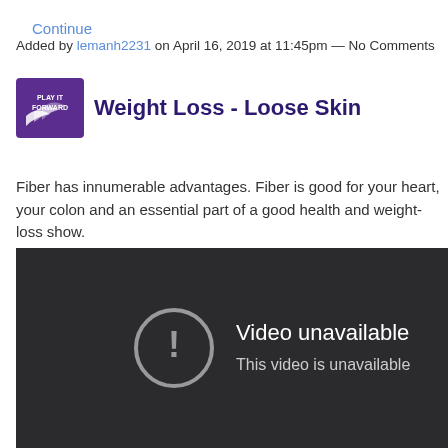Continue
Added by lemanh2231 on April 16, 2019 at 11:45pm — No Comments
Weight Loss - Loose Skin
Fiber has innumerable advantages. Fiber is good for your heart, your colon and an essential part of a good health and weight-loss show.
[Figure (screenshot): Video unavailable screen: dark background with exclamation icon and text 'Video unavailable / This video is unavailable']